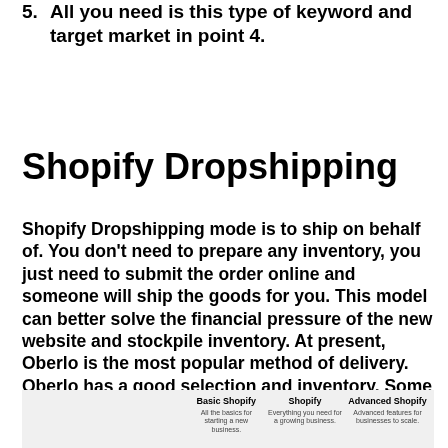5. All you need is this type of keyword and target market in point 4.
Shopify Dropshipping
Shopify Dropshipping mode is to ship on behalf of. You don't need to prepare any inventory, you just need to submit the order online and someone will ship the goods for you. This model can better solve the financial pressure of the new website and stockpile inventory. At present, Oberlo is the most popular method of delivery. Oberlo has a good selection and inventory. Some products can still be found on AliExpress. Oberlo needs a free version, so you don't have to worry about the upfront cost.
|  | Basic Shopify | Shopify | Advanced Shopify |
| --- | --- | --- | --- |
|  | All the basics for starting a new business. | Everything you need for a growing business. | Advanced features for businesses to scale. |